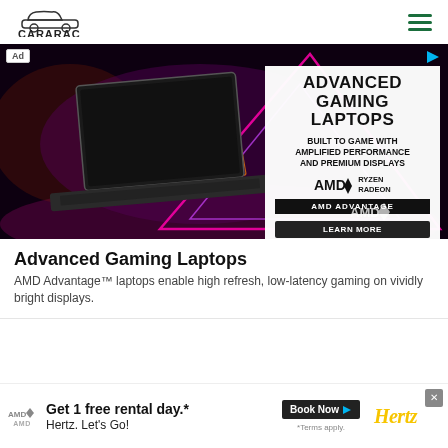[Figure (logo): CARARAC logo — car silhouette outline above the text CARARAC in a rounded rectangle style]
[Figure (illustration): Advertisement banner for AMD Advanced Gaming Laptops — dark background with neon-lit laptop, geometric glowing triangles, text: ADVANCED GAMING LAPTOPS, BUILT TO GAME WITH AMPLIFIED PERFORMANCE AND PREMIUM DISPLAYS, AMD RYZEN RADEON, AMD ADVANTAGE, LEARN MORE button]
Advanced Gaming Laptops
AMD Advantage™ laptops enable high refresh, low-latency gaming on vividly bright displays.
[Figure (illustration): Bottom advertisement banner: Get 1 free rental day.* Hertz. Let's Go! with Book Now button and Hertz logo]